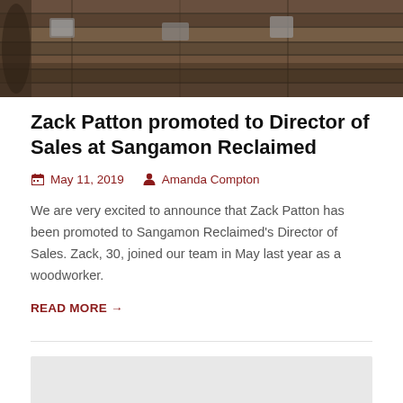[Figure (photo): Close-up photo of wooden boards and metal hardware, likely reclaimed wood materials]
Zack Patton promoted to Director of Sales at Sangamon Reclaimed
May 11, 2019   Amanda Compton
We are very excited to announce that Zack Patton has been promoted to Sangamon Reclaimed's Director of Sales. Zack, 30, joined our team in May last year as a woodworker.
READ MORE →
[Figure (photo): Partially visible photo at bottom of page, light gray placeholder]